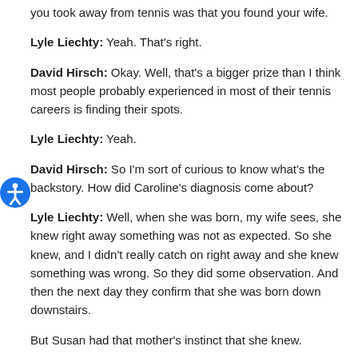you took away from tennis was that you found your wife.
Lyle Liechty: Yeah. That's right.
David Hirsch: Okay. Well, that's a bigger prize than I think most people probably experienced in most of their tennis careers is finding their spots.
Lyle Liechty: Yeah.
David Hirsch: So I'm sort of curious to know what's the backstory. How did Caroline's diagnosis come about?
Lyle Liechty: Well, when she was born, my wife sees, she knew right away something was not as expected. So she knew, and I didn't really catch on right away and she knew something was wrong. So they did some observation. And then the next day they confirm that she was born down downstairs.
But Susan had that mother's instinct that she knew.